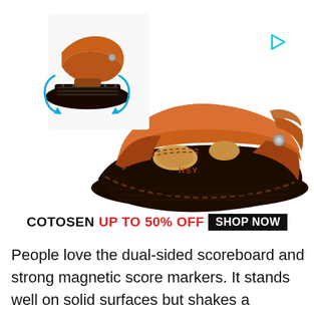[Figure (photo): Advertisement photo of brown leather HSY sandals/clogs. Shows main side view of a tan/brown leather closed-toe sandal with hand-stitched sole and cutout design, plus a smaller inset image showing the sole being bent/flexed with blue curved arrows indicating flexibility. A small cyan play-button triangle icon appears in the upper right.]
COTOSEN UP TO 50% OFF SHOP NOW
People love the dual-sided scoreboard and strong magnetic score markers. It stands well on solid surfaces but shakes a